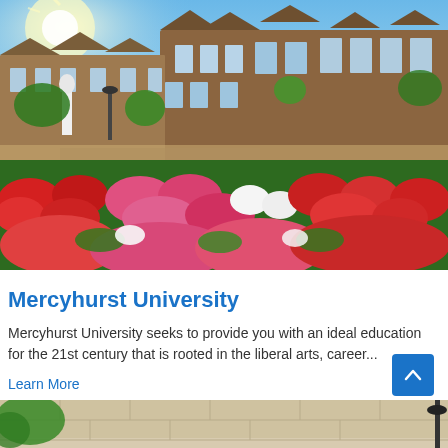[Figure (photo): Aerial view of Mercyhurst University campus with Gothic-style brick buildings, a white statue, and colorful flower gardens with red, pink, and white blooms in the foreground under a bright blue sky.]
Mercyhurst University
Mercyhurst University seeks to provide you with an ideal education for the 21st century that is rooted in the liberal arts, career...
Learn More
[Figure (photo): Partial view of York College sign on a stone wall with greenery and trees in the background.]